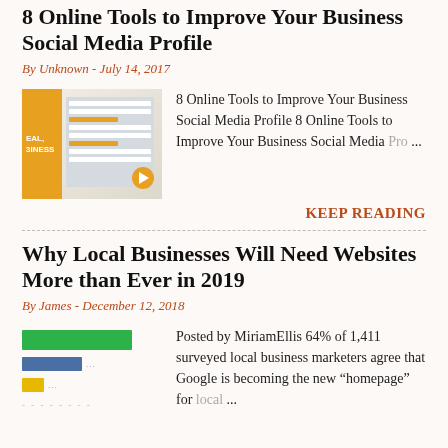8 Online Tools to Improve Your Business Social Media Profile
By Unknown - July 14, 2017
[Figure (screenshot): Screenshot of a tablet/device showing a spreadsheet or dashboard interface with orange accents]
8 Online Tools to Improve Your Business Social Media Profile 8 Online Tools to Improve Your Business Social Media Pro ...
KEEP READING
Why Local Businesses Will Need Websites More than Ever in 2019
By James - December 12, 2018
[Figure (infographic): Bar chart preview image showing green, blue, and yellow bars representing survey data]
Posted by MiriamEllis 64% of 1,411 surveyed local business marketers agree that Google is becoming the new “homepage” for local ...